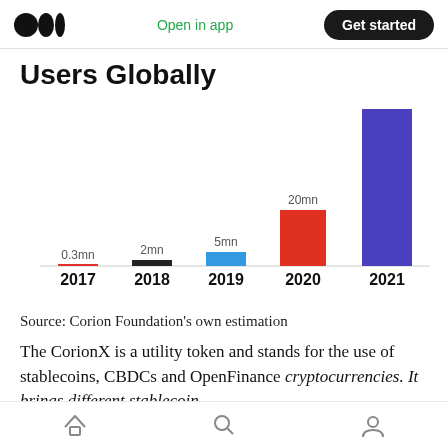Medium logo | Open in app | Get started
Users Globally
[Figure (bar-chart): Users Globally]
Source: Corion Foundation’s own estimation
The CorionX is a utility token and stands for the use of stablecoins, CBDCs and OpenFinance cryptocurrencies. It brings different stablecoin
Home | Search | Profile